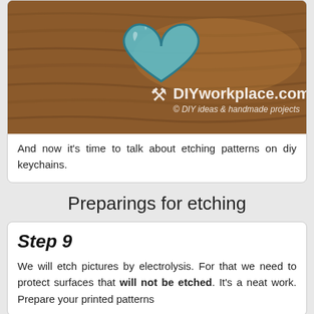[Figure (photo): Close-up photo of a teal/blue heart-shaped piece of sea glass or resin on a wooden surface, with DIYworkplace.com watermark overlay]
And now it's time to talk about etching patterns on diy keychains.
Preparings for etching
Step 9
We will etch pictures by electrolysis. For that we need to protect surfaces that will not be etched. It's a neat work. Prepare your printed patterns
[Figure (photo): Partial view of a printed pattern with heart shape outline on paper]